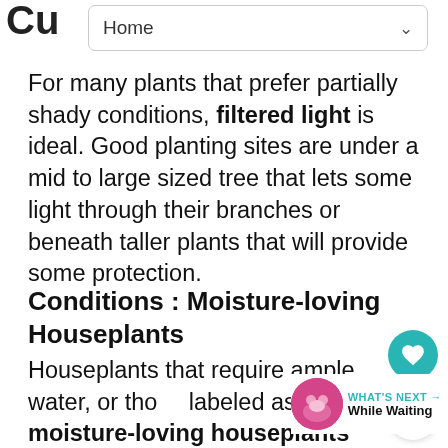Cu
Home
For many plants that prefer partially shady conditions, filtered light is ideal. Good planting sites are under a mid to large sized tree that lets some light through their branches or beneath taller plants that will provide some protection.
Conditions : Moisture-loving Houseplants
Houseplants that require ample water, or those labeled as moisture-loving houseplants require that they be watered thoroughly until the soil is saturated and then drains through holes in the bottom of pot. Re-water when potting soil becomes dry to the touch an inch
WHAT'S NEXT → While Waiting